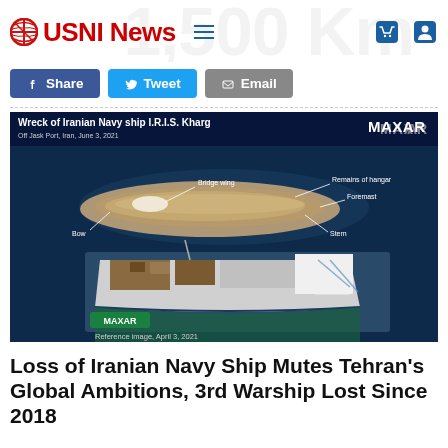USNI News
[Figure (screenshot): USNI News website header with red logo, hamburger menu, cart icon, and user icon. Watermark text '1,500 Km' visible in background.]
[Figure (other): Social share buttons: Facebook Share, Twitter Tweet, Email]
[Figure (photo): Satellite composite image showing the wreck of Iranian Navy ship I.R.I.S. Kharg. Top portion shows the sunken wreck off Jask Port, Iran, June 3, 2021, with annotations for Bridge wing, Remains of hangar, and Foremast. Bottom portion shows reference image of the ship April 3, 2021. MAXAR branding visible.]
Loss of Iranian Navy Ship Mutes Tehran's Global Ambitions, 3rd Warship Lost Since 2018